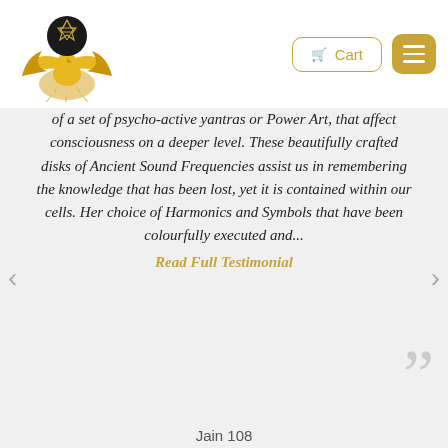[Figure (logo): Golden phoenix bird logo with a dark circular emblem containing a Star of David geometric symbol above it, in gold and black colors]
Cart [menu button]
of a set of psycho-active yantras or Power Art, that affect consciousness on a deeper level. These beautifully crafted disks of Ancient Sound Frequencies assist us in remembering the knowledge that has been lost, yet it is contained within our cells. Her choice of Harmonics and Symbols that have been colourfully executed and...
Read Full Testimonial
Jain 108